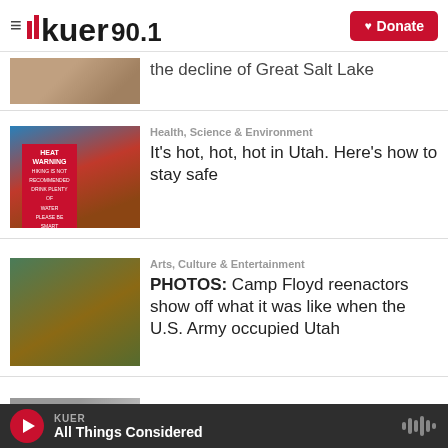KUER 90.1 — Donate
the decline of Great Salt Lake
Health, Science & Environment
It's hot, hot, hot in Utah. Here's how to stay safe
Arts, Culture & Entertainment
PHOTOS: Camp Floyd reenactors show off what it was like when the U.S. Army occupied Utah
News
KUER — All Things Considered